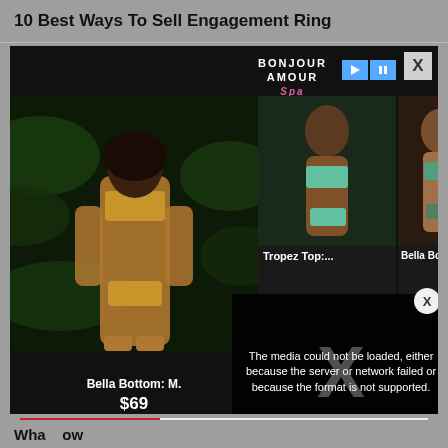10 Best Ways To Sell Engagement Ring
[Figure (screenshot): Advertisement popup showing swimwear/bikini products from 'Bonjour Amour Spa'. Left side shows a woman in a leopard print bikini labeled 'Bella Bottom: M.' priced at $69. Middle shows 'Tropez Top:...' thumbnail. Right shows 'Bella Bott' thumbnail. An error overlay reads 'The media could not be loaded, either because the server or network failed or because the format is not supported.' Two X close buttons are visible.]
[Figure (screenshot): Bottom advertisement banner for 'BitLife - Life Simulator' app showing red background with game imagery, 'Ad' label, and 'Install!' button.]
Wha... ow